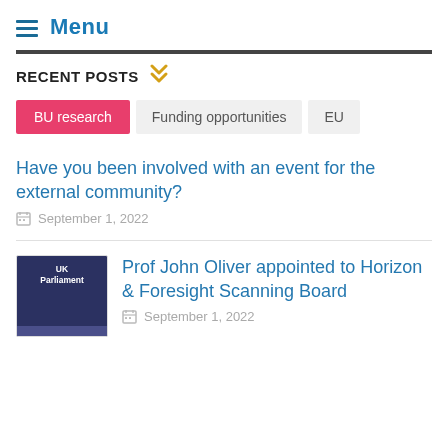Menu
RECENT POSTS
BU research
Funding opportunities
EU
Have you been involved with an event for the external community?
September 1, 2022
Prof John Oliver appointed to Horizon & Foresight Scanning Board
September 1, 2022